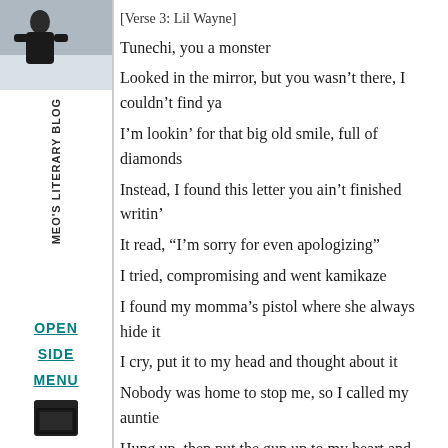[Figure (photo): Small photo of a person in winter/snowy setting, grayscale tones]
MEO'S LITERARY BLOG (vertical sidebar label)
OPEN (navigation link)
SIDE (navigation link)
MENU (navigation link)
[Figure (illustration): Small dark square icon at bottom of sidebar]
[Verse 3: Lil Wayne]
Tunechi, you a monster
Looked in the mirror, but you wasn't there, I couldn't find ya
I'm lookin' for that big old smile, full of diamonds
Instead, I found this letter you ain't finished writin'
It read, "I'm sorry for even apologizing"
I tried, compromising and went kamikaze
I found my momma's pistol where she always hide it
I cry, put it to my head and thought about it
Nobody was home to stop me, so I called my auntie
Hung up, then put the gun up to my heart and